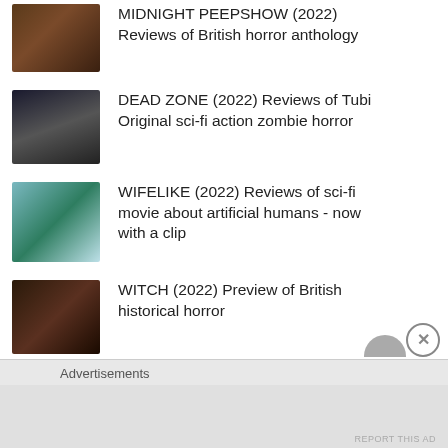MIDNIGHT PEEPSHOW (2022) Reviews of British horror anthology
DEAD ZONE (2022) Reviews of Tubi Original sci-fi action zombie horror
WIFELIKE (2022) Reviews of sci-fi movie about artificial humans - now with a clip
WITCH (2022) Preview of British historical horror
CONJURING THE BEYOND (2022) Preview of sleep study horror
Advertisements